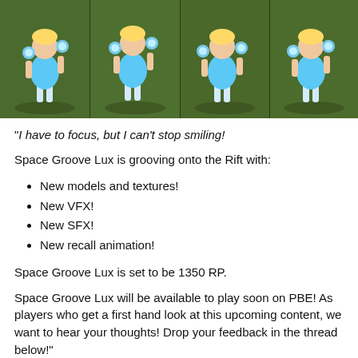[Figure (screenshot): Four in-game screenshots of the Space Groove Lux skin showing the character from different angles on a grassy environment.]
"I have to focus, but I can't stop smiling!
Space Groove Lux is grooving onto the Rift with:
New models and textures!
New VFX!
New SFX!
New recall animation!
Space Groove Lux is set to be 1350 RP.
Space Groove Lux will be available to play soon on PBE! As players who get a first hand look at this upcoming content, we want to hear your thoughts! Drop your feedback in the thread below!"
Space Groove Nasus